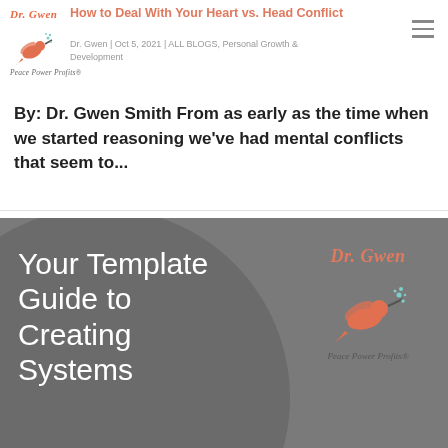Dr. Gwen | Peace Power Profits
How to Deal With Your Heart vs. Head Conflict
Dr. Gwen | Oct 5, 2021 | ALL BLOGS, Personal Growth & Development
By: Dr. Gwen Smith From as early as the time when we started reasoning we've had mental conflicts that seem to...
[Figure (illustration): Dr. Gwen Peace Power Profits logo with hummingbird and script text, bottom section with large circle background showing 'Your Template Guide to Creating Systems' and Dr. Gwen logo with hummingbird]